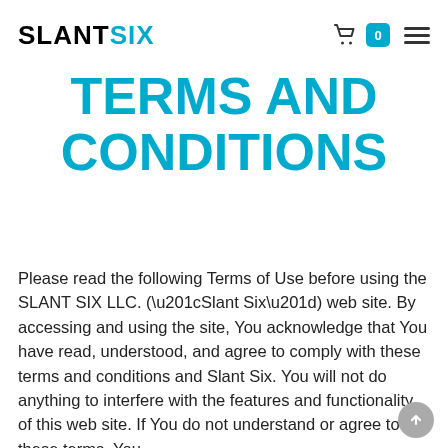SLANTSIX — navigation with basket and menu icons
TERMS AND CONDITIONS
Please read the following Terms of Use before using the SLANT SIX LLC. (“Slant Six”) web site. By accessing and using the site, You acknowledge that You have read, understood, and agree to comply with these terms and conditions and Slant Six. You will not do anything to interfere with the features and functionality of this web site. If You do not understand or agree to these terms, You